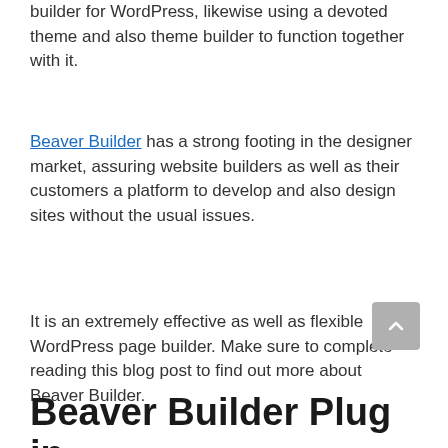builder for WordPress, likewise using a devoted theme and also theme builder to function together with it.
Beaver Builder has a strong footing in the designer market, assuring website builders as well as their customers a platform to develop and also design sites without the usual issues.
It is an extremely effective as well as flexible WordPress page builder. Make sure to complete reading this blog post to find out more about Beaver Builder.
Beaver Builder Plugin